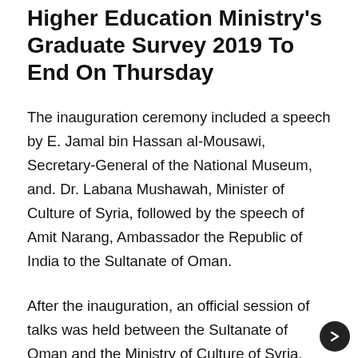Higher Education Ministry's Graduate Survey 2019 To End On Thursday
The inauguration ceremony included a speech by E. Jamal bin Hassan al-Mousawi, Secretary-General of the National Museum, and. Dr. Labana Mushawah, Minister of Culture of Syria, followed by the speech of Amit Narang, Ambassador the Republic of India to the Sultanate of Oman.
After the inauguration, an official session of talks was held between the Sultanate of Oman and the Ministry of Culture of Syria, during which bilateral cooperation between the two countries were discussed, emphasising the efforts to develop relation in cultural and museum fields and to strengthen bilateral relations between the two sides. The Sultanate of Oman`s side was represented by Her